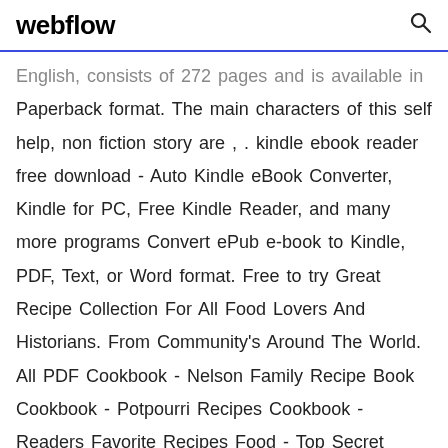webflow
English, consists of 272 pages and is available in Paperback format. The main characters of this self help, non fiction story are , . kindle ebook reader free download - Auto Kindle eBook Converter, Kindle for PC, Free Kindle Reader, and many more programs Convert ePub e-book to Kindle, PDF, Text, or Word format. Free to try Great Recipe Collection For All Food Lovers And Historians. From Community's Around The World. All PDF Cookbook - Nelson Family Recipe Book Cookbook - Potpourri Recipes Cookbook - Readers Favorite Recipes Food - Top Secret Recipes CookBook Chinese Recipes 1 (English - Recipes) Cookbook Great Tastes Top Secret Recipes 1 Vegetarian miso pasto pasta recipe